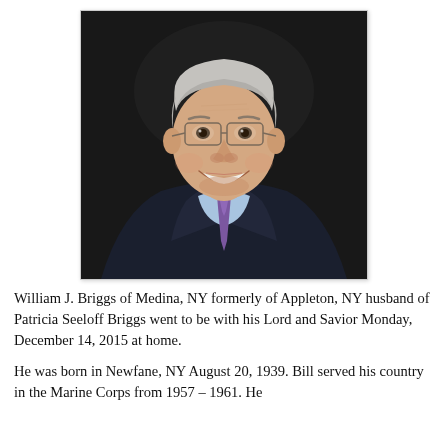[Figure (photo): Portrait photo of an elderly man with grey hair, wearing glasses, a dark suit jacket, light blue dress shirt, and a purple tie. He is smiling against a dark background.]
William J. Briggs of Medina, NY formerly of Appleton, NY husband of Patricia Seeloff Briggs went to be with his Lord and Savior Monday, December 14, 2015 at home.
He was born in Newfane, NY August 20, 1939. Bill served his country in the Marine Corps from 1957 – 1961. He